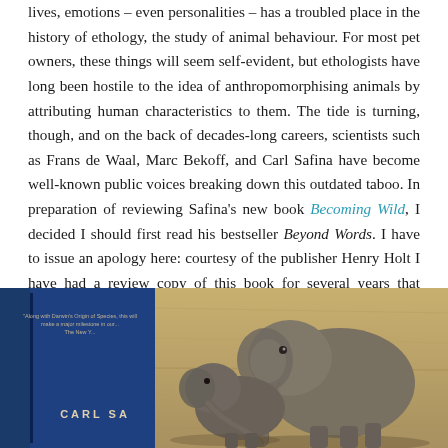lives, emotions – even personalities – has a troubled place in the history of ethology, the study of animal behaviour. For most pet owners, these things will seem self-evident, but ethologists have long been hostile to the idea of anthropomorphising animals by attributing human characteristics to them. The tide is turning, though, and on the back of decades-long careers, scientists such as Frans de Waal, Marc Bekoff, and Carl Safina have become well-known public voices breaking down this outdated taboo. In preparation of reviewing Safina's new book Becoming Wild, I decided I should first read his bestseller Beyond Words. I have to issue an apology here: courtesy of the publisher Henry Holt I have had a review copy of this book for several years that gathered dust until now. And that was entirely my loss, as Beyond Words turned out to be a beautiful, moving book.
[Figure (photo): Photo of a book cover by Carl Safina alongside a photograph of two elephants together, one adult and one younger, trunks touching.]